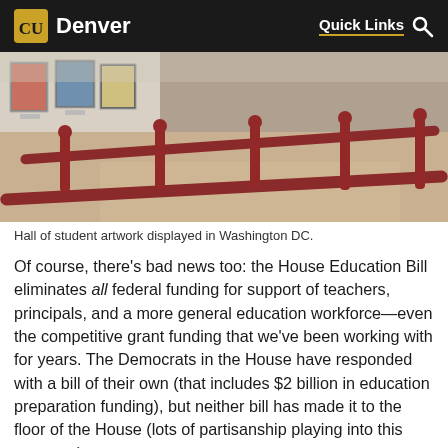CU Denver — Quick Links
[Figure (photo): Indoor hallway with dark red metal railings curving to the right, with framed student artwork displayed on a white wall to the left, and a polished concrete floor.]
Hall of student artwork displayed in Washington DC.
Of course, there's bad news too: the House Education Bill eliminates all federal funding for support of teachers, principals, and a more general education workforce—even the competitive grant funding that we've been working with for years. The Democrats in the House have responded with a bill of their own (that includes $2 billion in education preparation funding), but neither bill has made it to the floor of the House (lots of partisanship playing into this non-vote).